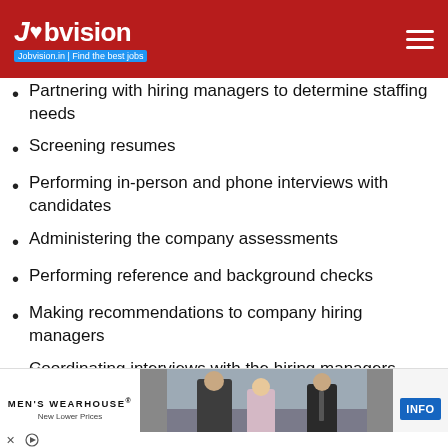Jobvision.in | Find the best jobs
Partnering with hiring managers to determine staffing needs
Screening resumes
Performing in-person and phone interviews with candidates
Administering the company assessments
Performing reference and background checks
Making recommendations to company hiring managers
Coordinating interviews with the hiring managers
Following up on the interview process status
Maintaining relationships with both internal and external candidates to ensure staffing goals are achieved
[Figure (photo): Men's Wearhouse advertisement showing a couple in formal wear with a man in a suit on the right and an INFO button]